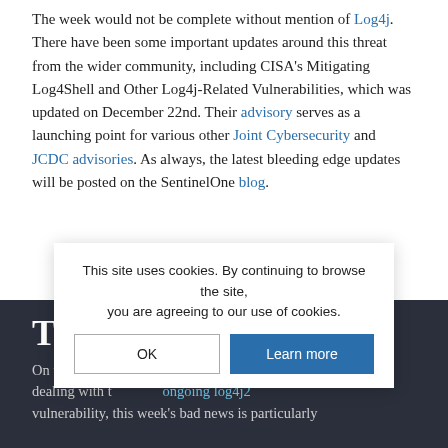The week would not be complete without mention of Log4j. There have been some important updates around this threat from the wider community, including CISA's Mitigating Log4Shell and Other Log4j-Related Vulnerabilities, which was updated on December 22nd. Their advisory serves as a launching point for various other Joint Cybersecurity and JCDC advisories. As always, the latest bleeding edge updates will be posted on the SentinelOne blog.
The Bad
On top of the ongoing Log4j vulnerability, this week's bad news is particularly
[Figure (other): Cookie consent overlay with message 'This site uses cookies. By continuing to browse the site, you are agreeing to our use of cookies.' and two buttons: OK and Learn more]